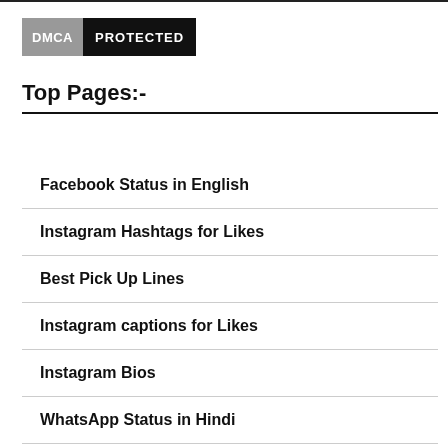[Figure (logo): DMCA PROTECTED badge with grey left panel and black right panel]
Top Pages:-
Facebook Status in English
Instagram Hashtags for Likes
Best Pick Up Lines
Instagram captions for Likes
Instagram Bios
WhatsApp Status in Hindi
Attitude Status